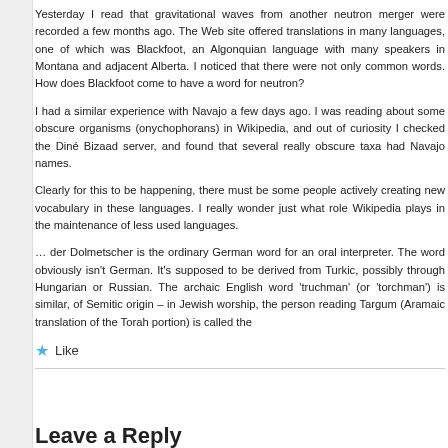Yesterday I read that gravitational waves from another neutron star merger were recorded a few months ago. The Web site offered translations in many languages, one of which was Blackfoot, an Algonquian language with many speakers in Montana and adjacent Alberta. I noticed that there were not only common words. How does Blackfoot come to have a word for neutron?
I had a similar experience with Navajo a few days ago. I was reading about some obscure organisms (onychophorans) in Wikipedia, and out of curiosity I checked the Diné Bizaad server, and found that several really obscure taxa had Navajo names.
Clearly for this to be happening, there must be some people actively creating new vocabulary in these languages. I really wonder just what role Wikipedia plays in the maintenance of less used languages.
… der Dolmetscher is the ordinary German word for an oral interpreter. The word obviously isn't German. It's supposed to be derived from Turkic, possibly through Hungarian or Russian. The archaic English word 'truchman' (or 'torchman') is similar, of Semitic origin – in Jewish worship, the person reading Targum (Aramaic translation of the Torah portion) is called the
Like
Leave a Reply
Enter your comment here...